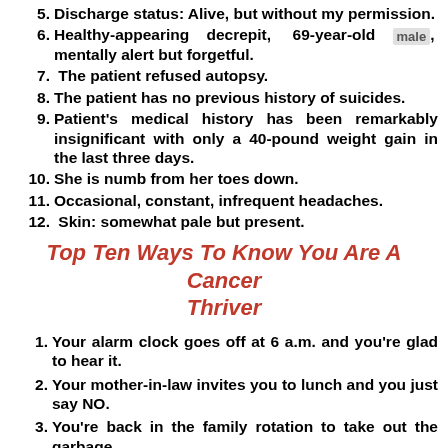5. Discharge status: Alive, but without my permission.
6. Healthy-appearing decrepit, 69-year-old male, mentally alert but forgetful.
7. The patient refused autopsy.
8. The patient has no previous history of suicides.
9. Patient's medical history has been remarkably insignificant with only a 40-pound weight gain in the last three days.
10. She is numb from her toes down.
11. Occasional, constant, infrequent headaches.
12. Skin: somewhat pale but present.
Top Ten Ways To Know You Are A Cancer Thriver
1. Your alarm clock goes off at 6 a.m. and you're glad to hear it.
2. Your mother-in-law invites you to lunch and you just say NO.
3. You're back in the family rotation to take out the garbage.